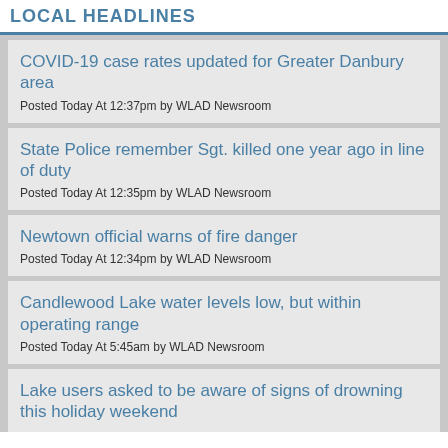LOCAL HEADLINES
COVID-19 case rates updated for Greater Danbury area
Posted Today At 12:37pm by WLAD Newsroom
State Police remember Sgt. killed one year ago in line of duty
Posted Today At 12:35pm by WLAD Newsroom
Newtown official warns of fire danger
Posted Today At 12:34pm by WLAD Newsroom
Candlewood Lake water levels low, but within operating range
Posted Today At 5:45am by WLAD Newsroom
Lake users asked to be aware of signs of drowning this holiday weekend